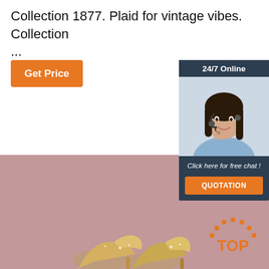Collection 1877. Plaid for vintage vibes. Collection ...
[Figure (other): Orange 'Get Price' button]
[Figure (other): 24/7 Online chat widget with photo of customer service representative, 'Click here for free chat!' text, and orange QUOTATION button]
[Figure (photo): Mauve/pink background with gold high-heel shoes at bottom and TOP logo in lower right]
[Figure (logo): TOP logo with orange dots arc above text]